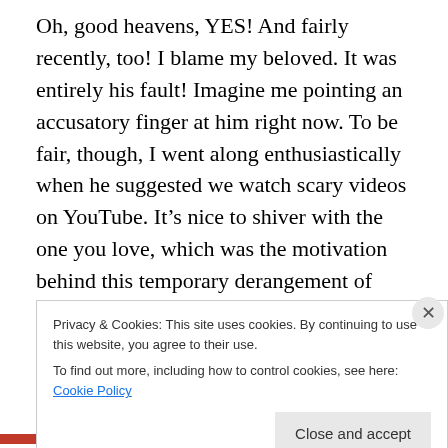Oh, good heavens, YES! And fairly recently, too! I blame my beloved. It was entirely his fault! Imagine me pointing an accusatory finger at him right now. To be fair, though, I went along enthusiastically when he suggested we watch scary videos on YouTube. It’s nice to shiver with the one you love, which was the motivation behind this temporary derangement of ours. We started out quite innocently enough with UFO videos, which were more strange and interesting than scary, and ridiculously tame compared to what came next…
Privacy & Cookies: This site uses cookies. By continuing to use this website, you agree to their use.
To find out more, including how to control cookies, see here: Cookie Policy